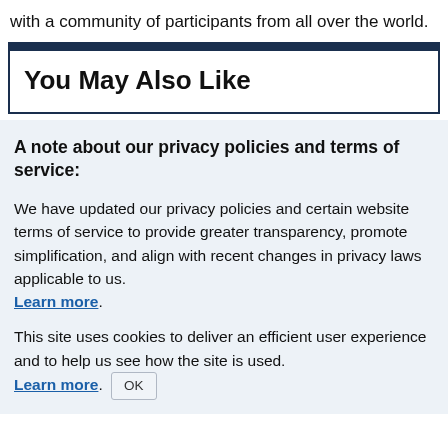with a community of participants from all over the world.
You May Also Like
A note about our privacy policies and terms of service:
We have updated our privacy policies and certain website terms of service to provide greater transparency, promote simplification, and align with recent changes in privacy laws applicable to us. Learn more.
This site uses cookies to deliver an efficient user experience and to help us see how the site is used. Learn more. OK